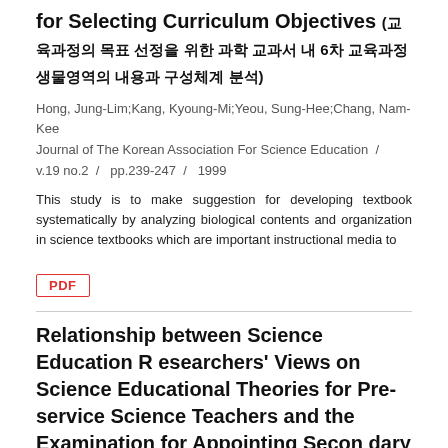for Selecting Curriculum Objectives (교육과정의 목표 선정을 위한 과학 교과서 내 6차 교육과정 생물영역의 내용과 구성체계 분석)
Hong, Jung-Lim;Kang, Kyoung-Mi;Yeou, Sung-Hee;Chang, Nam-Kee
Journal of The Korean Association For Science Education  /  v.19 no.2  /  pp.239-247  /  1999
This study is to make suggestion for developing textbook systematically by analyzing biological contents and organization in science textbooks which are important instructional media to
PDF
Relationship between Science Education Researchers' Views on Science Educational Theories for Pre-service Science Teachers and the Examination for Appointing Secondary School Science Teachers (과학교육연구자들의 과학교육이론에 대한)